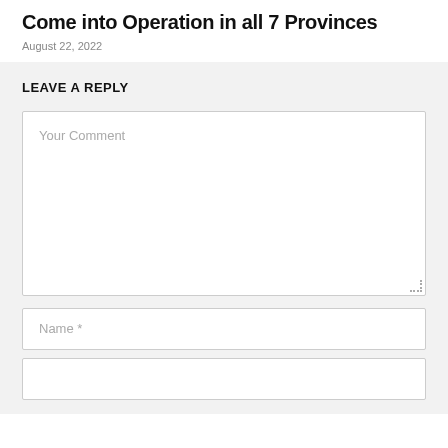Come into Operation in all 7 Provinces
August 22, 2022
LEAVE A REPLY
Your Comment
Name *